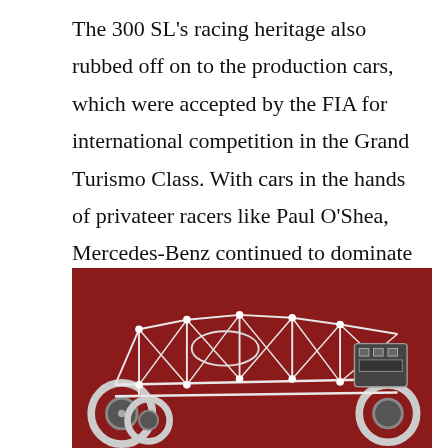The 300 SL's racing heritage also rubbed off on to the production cars, which were accepted by the FIA for international competition in the Grand Turismo Class. With cars in the hands of privateer racers like Paul O'Shea, Mercedes-Benz continued to dominate motorsports throughout the early 1950s, as sports car racing became an American passion.
[Figure (photo): A black and white photograph of a Mercedes-Benz racing car chassis/frame (tubular space frame) displayed against a dark red/crimson background, showing the intricate tubular steel framework, wheels, engine, and mechanical components.]